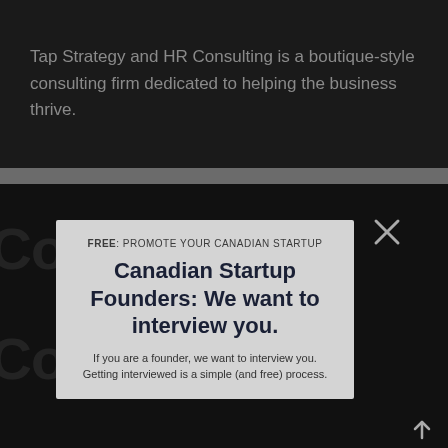Tap Strategy and HR Consulting is a boutique-style consulting firm dedicated to helping the business thrive.
[Figure (screenshot): A modal/popup overlay on a dark background with watermark text. The modal has a light grey background and contains a promotional message about interviewing Canadian startup founders.]
FREE: PROMOTE YOUR CANADIAN STARTUP
Canadian Startup Founders: We want to interview you.
If you are a founder, we want to interview you. Getting interviewed is a simple (and free) process.